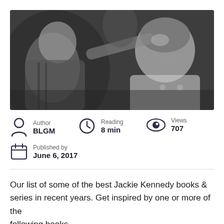[Figure (photo): Black and white photograph of a man and a woman (JFK and Jackie Kennedy) sitting together, with another person's hand visible in the background. The woman is smiling and wearing a light-colored coat with buttons.]
Author
BLGM
Reading
8 min
Views
707
Published by
June 6, 2017
Our list of some of the best Jackie Kennedy books & series in recent years. Get inspired by one or more of the following books...